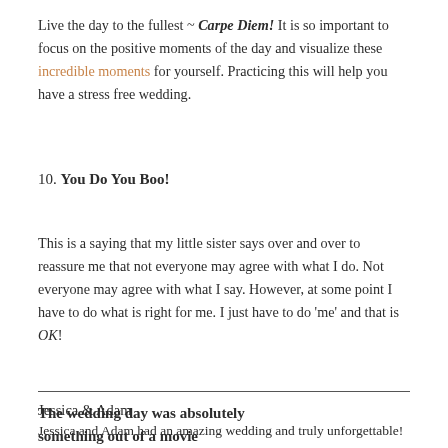Live the day to the fullest ~ Carpe Diem! It is so important to focus on the positive moments of the day and visualize these incredible moments for yourself. Practicing this will help you have a stress free wedding.
10. You Do You Boo!
This is a saying that my little sister says over and over to reassure me that not everyone may agree with what I do. Not everyone may agree with what I say. However, at some point I have to do what is right for me. I just have to do 'me' and that is OK!
Jessica & Adam
Jessica and Adam had an amazing wedding and truly unforgettable! It was a stress free wedding and they totally went with the flow of things.
The wedding day was absolutely something out of a movie